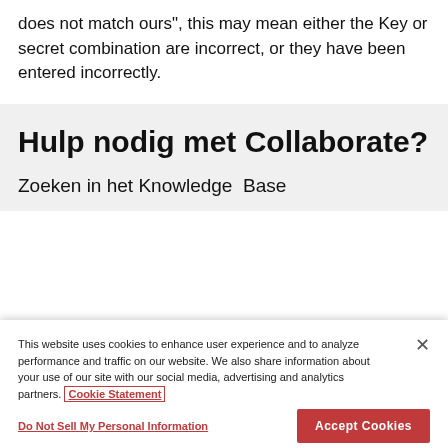does not match ours", this may mean either the Key or secret combination are incorrect, or they have been entered incorrectly.
Hulp nodig met Collaborate?
Zoeken in het Knowledge  Base
This website uses cookies to enhance user experience and to analyze performance and traffic on our website. We also share information about your use of our site with our social media, advertising and analytics partners. Cookie Statement
Do Not Sell My Personal Information
Accept Cookies